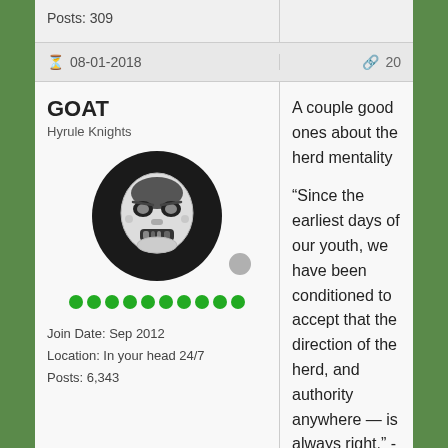Posts: 309
08-01-2018
20
GOAT
Hyrule Knights
Join Date: Sep 2012
Location: In your head 24/7
Posts: 6,343
A couple good ones about the herd mentality
“Since the earliest days of our youth, we have been conditioned to accept that the direction of the herd, and authority anywhere — is always right.” - smart dude
“Collective fear stimulates herd